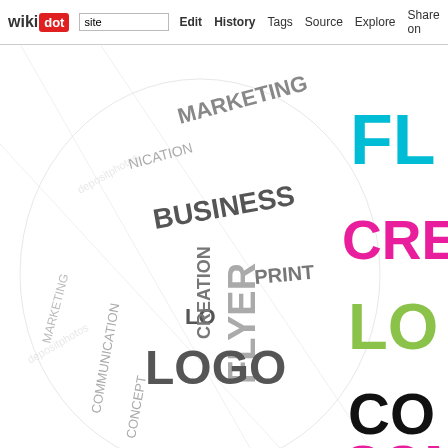wikidot | site | Edit | History | Tags | Source | Explore | Share on Twitter
[Figure (illustration): A 3D globe or sphere made of typography/word cloud with marketing and print-related words such as FLYER, CREATION, LOGO, PRINT, COMMUNICATION, BUSINESS, MARKETING, COMM in multiple colors including cyan, magenta/pink, yellow, lime green, black, and gray on a white background. The image is watermarked with 'depositphotos'.]